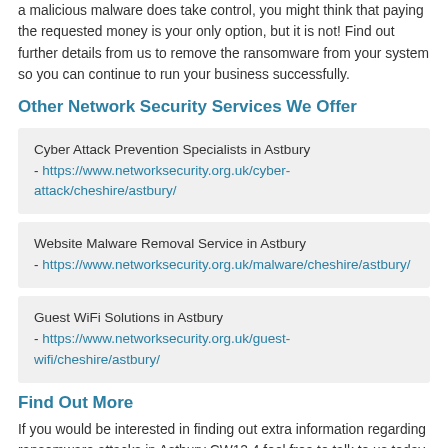a malicious malware does take control, you might think that paying the requested money is your only option, but it is not! Find out further details from us to remove the ransomware from your system so you can continue to run your business successfully.
Other Network Security Services We Offer
Cyber Attack Prevention Specialists in Astbury - https://www.networksecurity.org.uk/cyber-attack/cheshire/astbury/
Website Malware Removal Service in Astbury - https://www.networksecurity.org.uk/malware/cheshire/astbury/
Guest WiFi Solutions in Astbury - https://www.networksecurity.org.uk/guest-wifi/cheshire/astbury/
Find Out More
If you would be interested in finding out extra information regarding ransomware attacks in Astbury CW12 4 feel free to talk to us today. Our team have years of experience and specialist knowledge in